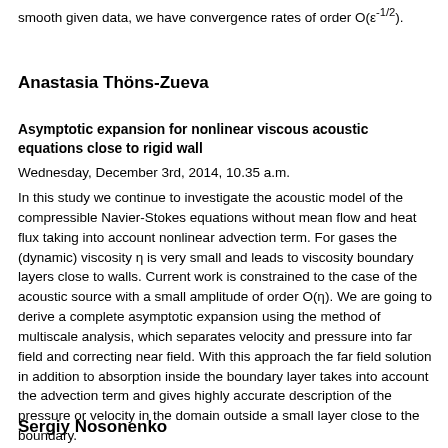smooth given data, we have convergence rates of order O(ε⁻¹/²).
Anastasia Thöns-Zueva
Asymptotic expansion for nonlinear viscous acoustic equations close to rigid wall
Wednesday, December 3rd, 2014, 10.35 a.m.
In this study we continue to investigate the acoustic model of the compressible Navier-Stokes equations without mean flow and heat flux taking into account nonlinear advection term. For gases the (dynamic) viscosity η is very small and leads to viscosity boundary layers close to walls. Current work is constrained to the case of the acoustic source with a small amplitude of order O(η). We are going to derive a complete asymptotic expansion using the method of multiscale analysis, which separates velocity and pressure into far field and correcting near field. With this approach the far field solution in addition to absorption inside the boundary layer takes into account the advection term and gives highly accurate description of the pressure or velocity in the domain outside a small layer close to the boundary.
Sergiy Nosonenko